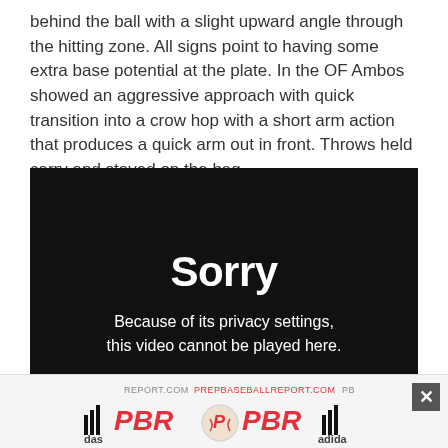behind the ball with a slight upward angle through the hitting zone. All signs point to having some extra base potential at the plate. In the OF Ambos showed an aggressive approach with quick transition into a crow hop with a short arm action that produces a quick arm out in front. Throws held carry and stayed on the bag.
[Figure (screenshot): Black video player showing a privacy error message: 'Sorry — Because of its privacy settings, this video cannot be played here.']
[Figure (screenshot): Advertisement banner for PrepBaseballReport.com (PBR) with Adidas branding and a close button.]